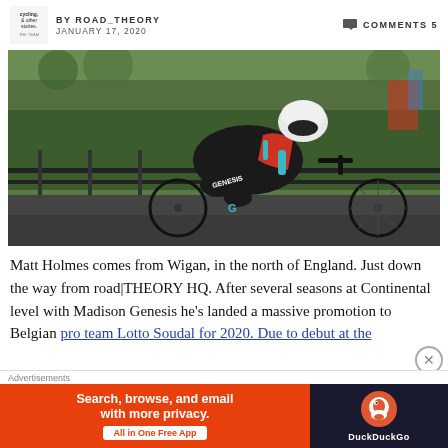BY ROAD_THEORY  JANUARY 17, 2020  COMMENTS 5
[Figure (photo): Cyclist in black and red Genesis kit riding a time trial bike in an aerodynamic position on a road, wearing a white aero helmet. Green hedges and railings in background.]
Matt Holmes comes from Wigan, in the north of England. Just down the way from road|THEORY HQ. After several seasons at Continental level with Madison Genesis he's landed a massive promotion to Belgian pro team Lotto Soudal for 2020. Due to debut at the
Advertisements
[Figure (infographic): DuckDuckGo advertisement banner: 'Search, browse, and email with more privacy. All in One Free App' with DuckDuckGo logo on orange and dark background.]